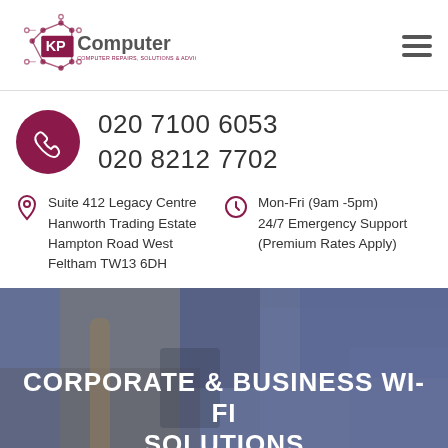[Figure (logo): KP Computer logo with circuit board graphic and text 'KP Computer - Computer Repairs, Solutions & Advice']
020 7100 6053
020 8212 7702
Suite 412 Legacy Centre
Hanworth Trading Estate
Hampton Road West
Feltham TW13 6DH
Mon-Fri (9am -5pm)
24/7 Emergency Support
(Premium Rates Apply)
[Figure (photo): Background photo of a technician using a multimeter on electronic components, overlaid with a blue-purple tint]
CORPORATE & BUSINESS WI-FI SOLUTIONS